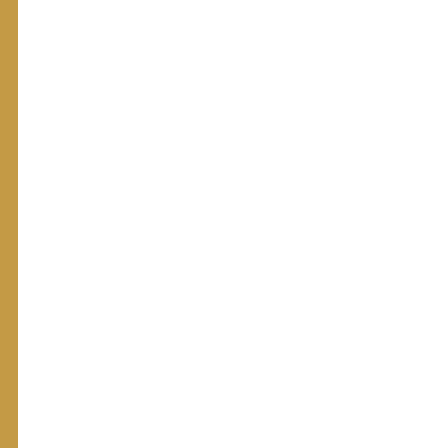plan. Many B2B2 consumers have sp... How can that technology be used in an o... decisions? How can they be entertained... physical interaction with products at reta...
[Figure (photo): Interior of a grocery store produce section. A green structural column is visible with a hanging promotional sign showing a child eating and text reading 'Produce deliveries twi...' and 'FRESH IS...' There is a 'MOBILE CHECKOUT' kiosk/sign visible. The store has fluorescent lighting and shelves of produce including lemons/citrus visible in the foreground.]